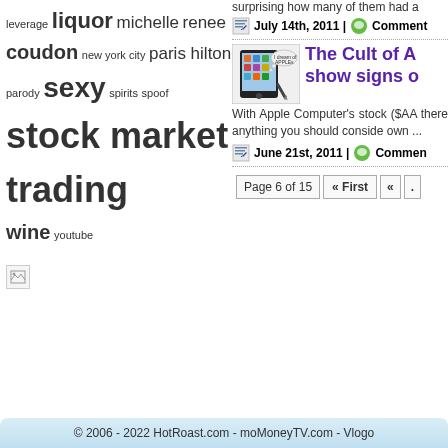leverage liquor michelle renee coudon new york city paris hilton parody sexy spirits spoof stock market trading wine youtube
[Figure (illustration): Broken image placeholder icon]
surprising how many of them had a
July 14th, 2011 | Comment
[Figure (screenshot): Thumbnail of article showing a tablet device with 'I dream of APPLEs' thought bubble]
The Cult of A show signs o
With Apple Computer's stock ($AA there anything you should conside own ...
June 21st, 2011 | Commen
Page 6 of 15   « First   «   .
© 2006 - 2022 HotRoast.com - moMoneyTV.com - Vlogo